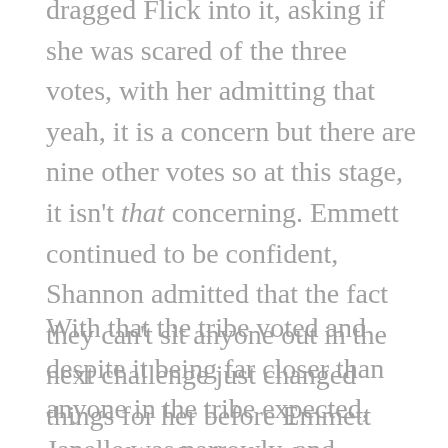dragged Flick into it, asking if she was scared of the three votes, with her admitting that yeah, it is a concern but there are nine other votes so at this stage, it isn't that concerning. Emmett continued to be confident, Shannon admitted that the fact they can't sit anyone out in the next challenge just changed things for her before Emmett gave a last ditch plea for everyone he trusts to stick to the plan. Basically. Flick meanwhile was focusing on sticking with the majority and guided solely by not wanting to come back to tribal council.
With that the tribe voted and despite it being far closer than anyone in the tribe expected, Janelle was narrowly, and tragically, booted from the game. And damn, you know there are going to be fireworks back